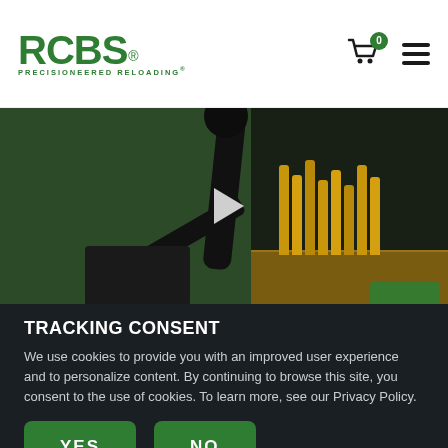RCBS PRECISIONEERED RELOADING - Navigation header with cart (0) and menu
[Figure (photo): Video screenshot of RCBS reloading press machine (green/black) with brass bullet casings on a wooden surface and green accessories]
TRACKING CONSENT
We use cookies to provide you with an improved user experience and to personalize content. By continuing to browse this site, you consent to the use of cookies. To learn more, see our Privacy Policy.
YES
NO